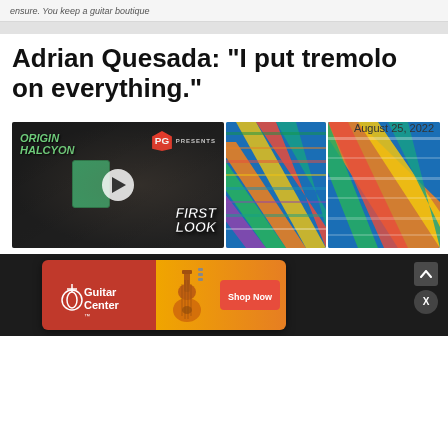ensure. You keep a guitar boutique
Adrian Quesada: “I put tremolo on everything.”
August 25, 2022
[Figure (screenshot): Video thumbnail showing Adrian Quesada holding a green guitar pedal, with ORIGIN HALCYON text on left, PG PRESENTS logo top right, and FIRST LOOK text overlay. Beside it is a colorful woven textile image.]
[Figure (photo): Guitar Center advertisement banner showing Guitar Center logo, an acoustic guitar, and a red Shop Now button on an orange/red gradient background.]